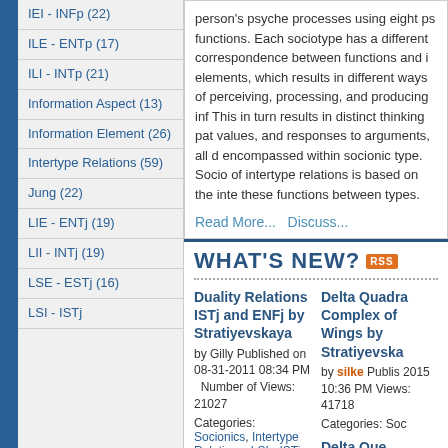IEI - INFp (22)
ILE - ENTp (17)
ILI - INTp (21)
Information Aspect (13)
Information Element (26)
Intertype Relations (59)
Jung (22)
LIE - ENTj (19)
LII - INTj (19)
LSE - ESTj (16)
LSI - ISTj
person's psyche processes using eight ps functions. Each sociotype has a different correspondence between functions and i elements, which results in different ways perceiving, processing, and producing inf This in turn results in distinct thinking pat values, and responses to arguments, all encompassed within socionic type. Socio of intertype relations is based on the inte these functions between types.
Read More... Discuss...
WHAT'S NEW?
Duality Relations ISTj and ENFj by Stratiyevskaya
by Gilly Published on 08-31-2011 08:34 PM  Number of Views: 21027
Categories: Socionics, Intertype Relations, LSI - ISTj, EIE - ENFj
Delta Quadra Complex of Wings by Stratiyevskaya
by silke Published 2015 10:36 PM Views: 41718
Categories: Soc
Delta Que